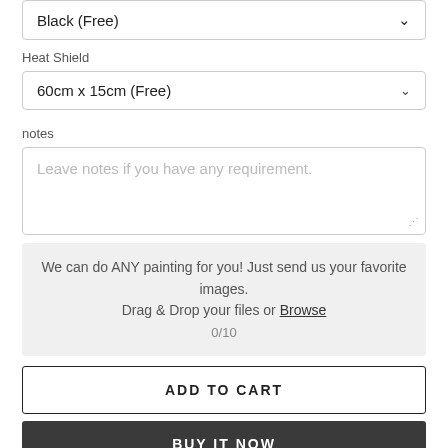Black (Free)
Heat Shield
60cm x 15cm (Free)
notes
Leave notes if you have any requirement.
We can do ANY painting for you! Just send us your favorite images.
Drag & Drop your files or Browse
0/10
ADD TO CART
BUY IT NOW